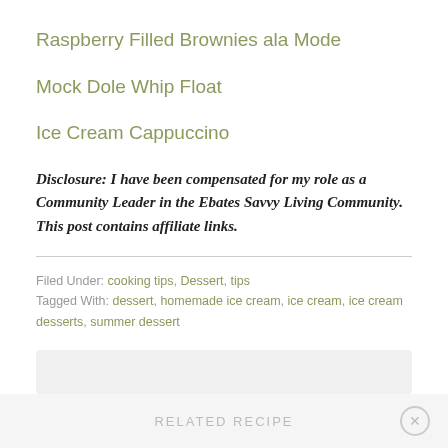Raspberry Filled Brownies ala Mode
Mock Dole Whip Float
Ice Cream Cappuccino
Disclosure: I have been compensated for my role as a Community Leader in the Ebates Savvy Living Community. This post contains affiliate links.
Filed Under: cooking tips, Dessert, tips
Tagged With: dessert, homemade ice cream, ice cream, ice cream desserts, summer dessert
RELATED RECIPE